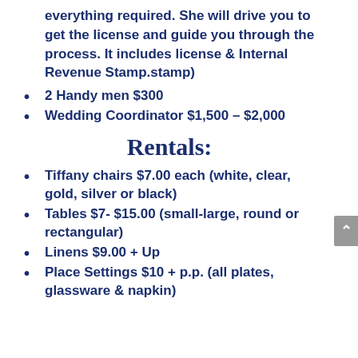everything required. She will drive you to get the license and guide you through the process. It includes license & Internal Revenue Stamp.stamp)
2 Handy men $300
Wedding Coordinator $1,500 – $2,000
Rentals:
Tiffany chairs $7.00 each (white, clear, gold, silver or black)
Tables $7- $15.00 (small-large, round or rectangular)
Linens $9.00 + Up
Place Settings $10 + p.p. (all plates, glassware & napkin)